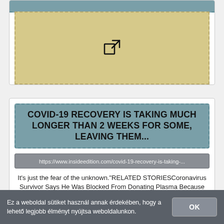[Figure (screenshot): Top of a web card showing a teal header strip and a beige/dashed area with an external link icon (arrow pointing out of a box)]
COVID-19 RECOVERY IS TAKING MUCH LONGER THAN 2 WEEKS FOR SOME, LEAVING THEM...
https://www.insideedition.com/covid-19-recovery-is-taking-...
It's just the fear of the unknown."RELATED STORIESCoronavirus Survivor Says He Was Blocked From Donating Plasma Because He Is Gay2.7 Million New Yorkers Have Had Coronavirus, Preliminary...
Ez a weboldal sütiket használ annak érdekében, hogy a lehető legjobb élményt nyújtsa weboldalunkon.